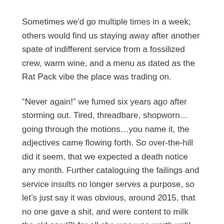Sometimes we'd go multiple times in a week; others would find us staying away after another spate of indifferent service from a fossilized crew, warm wine, and a menu as dated as the Rat Pack vibe the place was trading on.
“Never again!” we fumed six years ago after storming out. Tired, threadbare, shopworn…going through the motions…you name it, the adjectives came flowing forth. So over-the-hill did it seem, that we expected a death notice any month. Further cataloguing the failings and service insults no longer serves a purpose, so let’s just say it was obvious, around 2015, that no one gave a shit, and were content to milk the old cow(?) for all she was was worth until someone turned the place into a weed shop or Walgreen’s.
Now, amazingly, people give a shit and it shows. Covid forced the Steer into a reckoning (and new management), and it came out of that nightmare smelling like the apotheosis of prime. Amanda